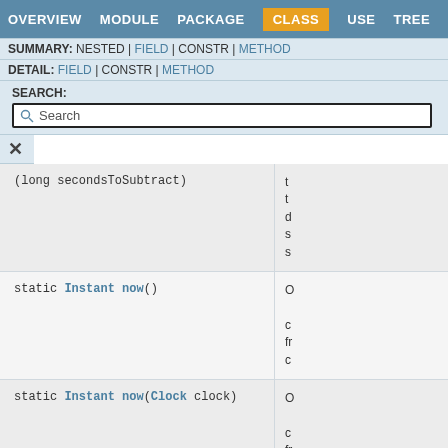OVERVIEW  MODULE  PACKAGE  CLASS  USE  TREE
SUMMARY: NESTED | FIELD | CONSTR | METHOD
DETAIL: FIELD | CONSTR | METHOD
SEARCH:
Search
(long secondsToSubtract)
static Instant now()
static Instant now(Clock clock)